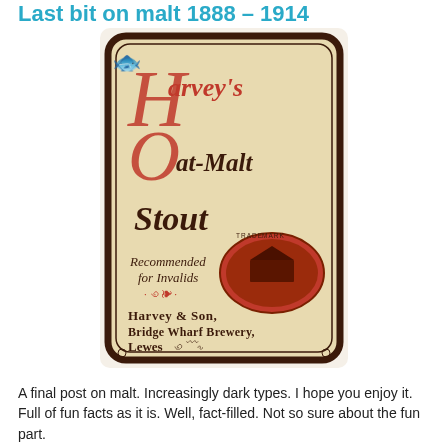Last bit on malt 1888 – 1914
[Figure (illustration): Vintage beer bottle label for Harvey's Oat-Malt Stout. Tan/cream background with aged parchment texture and dark brown decorative border with scroll-work corners. Large red Gothic lettering reads 'Harvey's Oat-Malt Stout' with an oversized decorative 'H' and 'O'. Below: 'Recommended for Invalids' in dark serif text with decorative flourish. An orange/red oval trade mark seal showing a brewery building. Bottom text in dark brown: 'Harvey & Son, Bridge Wharf Brewery, Lewes.' with decorative script signature.]
A final post on malt. Increasingly dark types. I hope you enjoy it. Full of fun facts as it is. Well, fact-filled. Not so sure about the fun part.